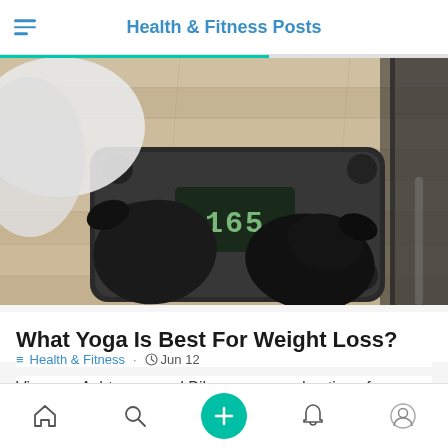Health & Fitness Posts
[Figure (photo): Person standing on a digital bathroom scale wearing black socks, viewed from above on a wooden floor. Scale display shows weight reading.]
What Yoga Is Best For Weight Loss?
Health & Fitness · Jun 12
Vinyasa, Ashtanga, and Bikram are good options for yoga practices when trying to lose weight. Learn why they help with weight loss, including additional tips.